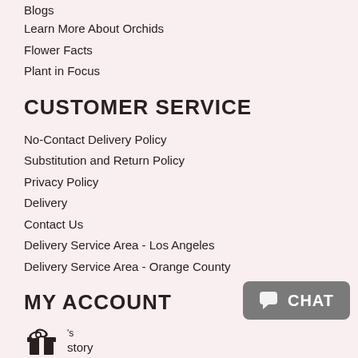Blogs
Learn More About Orchids
Flower Facts
Plant in Focus
CUSTOMER SERVICE
No-Contact Delivery Policy
Substitution and Return Policy
Privacy Policy
Delivery
Contact Us
Delivery Service Area - Los Angeles
Delivery Service Area - Orange County
MY ACCOUNT
[Figure (illustration): Gift box icon with a small label showing 's' and the word 'story' beside it]
[Figure (screenshot): Chat button widget with speech bubble icon and the word CHAT]
FOLLOW US